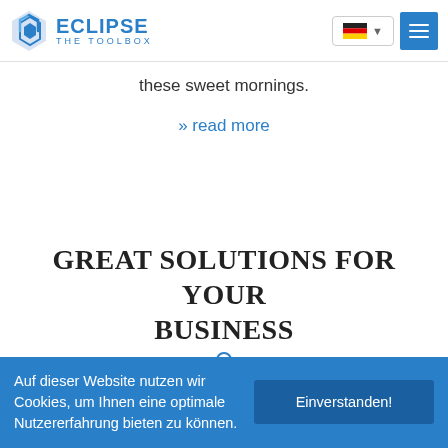ECLIPSE THE TOOLBOX
these sweet mornings.
» read more
GREAT SOLUTIONS FOR YOUR BUSINESS
Auf dieser Website nutzen wir Cookies, um Ihnen eine optimale Nutzererfahrung bieten zu können.